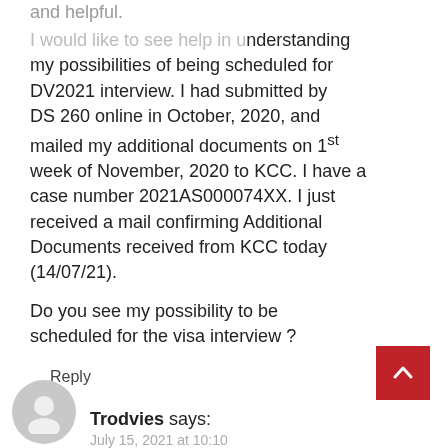and helpful.
I would like to seek help in understanding my possibilities of being scheduled for DV2021 interview. I had submitted by DS 260 online in October, 2020, and mailed my additional documents on 1st week of November, 2020 to KCC. I have a case number 2021AS000074XX. I just received a mail confirming Additional Documents received from KCC today (14/07/21).
Do you see my possibility to be scheduled for the visa interview ?
Reply
Trodvies says:
July 15, 2021 at 10:10